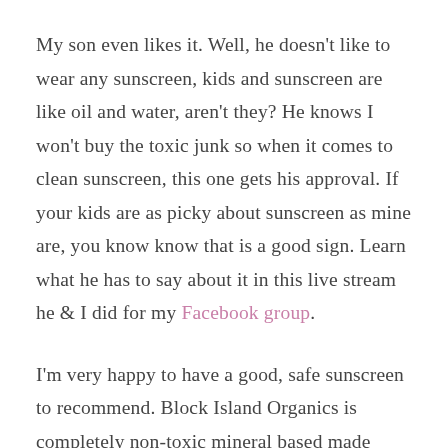My son even likes it. Well, he doesn't like to wear any sunscreen, kids and sunscreen are like oil and water, aren't they? He knows I won't buy the toxic junk so when it comes to clean sunscreen, this one gets his approval. If your kids are as picky about sunscreen as mine are, you know know that is a good sign. Learn what he has to say about it in this live stream he & I did for my Facebook group.
I'm very happy to have a good, safe sunscreen to recommend. Block Island Organics is completely non-toxic mineral based made without nanotechnology, which is important. Mineral sunscreens are often made with nanotechnology